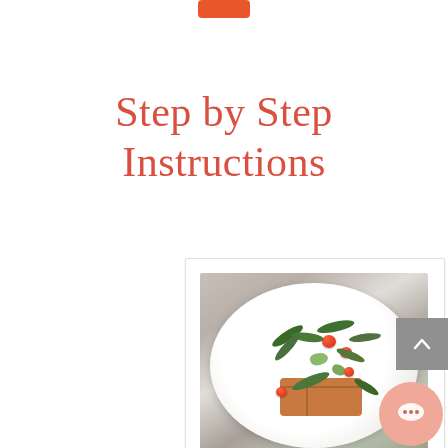[orange button/logo bar at top]
Step by Step Instructions
[Figure (photo): A white plate on a marble surface topped with a savory waffle, arugula greens, cherry tomatoes, avocado chunks, and white cream/sauce, viewed from above.]